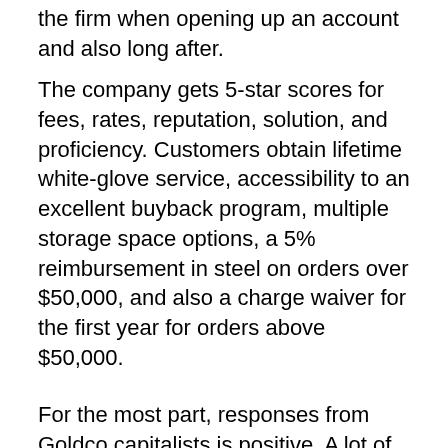the firm when opening up an account and also long after.
The company gets 5-star scores for fees, rates, reputation, solution, and proficiency. Customers obtain lifetime white-glove service, accessibility to an excellent buyback program, multiple storage space options, a 5% reimbursement in steel on orders over $50,000, and also a charge waiver for the first year for orders above $50,000.
For the most part, responses from Goldco capitalists is positive. A lot of customers seem satisfied with the product or services offered by the business. In August 2020, Goldco came to be an approved service by obtaining the BBB rating with a TrustScore of 4.7/5 based on feedback from